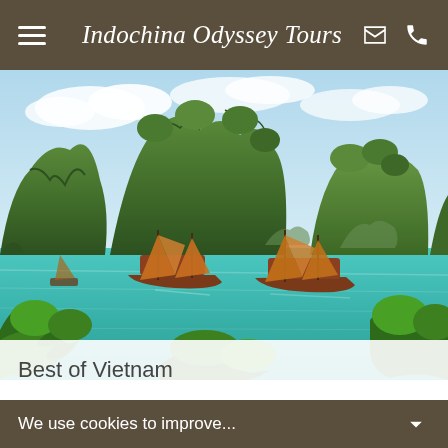Indochina Odyssey Tours
[Figure (photo): Ha Long Bay, Vietnam: turquoise-green bay with traditional red-sailed junk boats, dramatic limestone karst islands covered in jungle vegetation, blue sky with white clouds, tropical foliage in the foreground]
Best of Vietnam
We use cookies to improve...